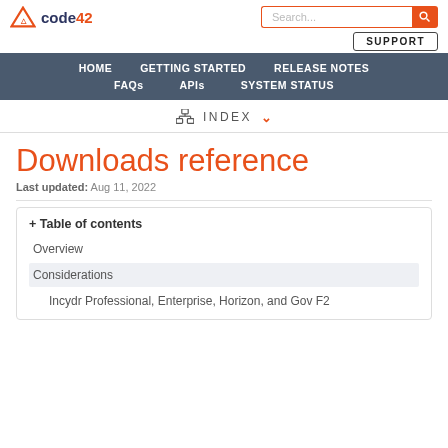code42 | Search... | SUPPORT | HOME | GETTING STARTED | RELEASE NOTES | FAQs | APIs | SYSTEM STATUS
INDEX
Downloads reference
Last updated: Aug 11, 2022
+ Table of contents
Overview
Considerations
Incydr Professional, Enterprise, Horizon, and Gov F2